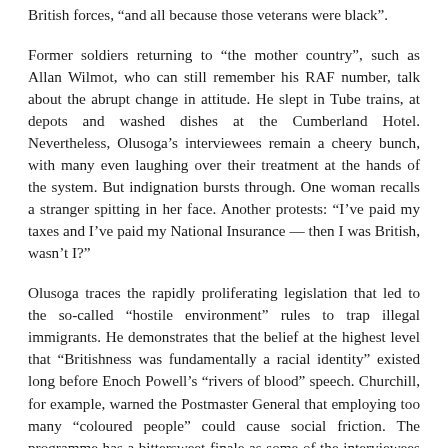British forces, "and all because those veterans were black".
Former soldiers returning to "the mother country", such as Allan Wilmot, who can still remember his RAF number, talk about the abrupt change in attitude. He slept in Tube trains, at depots and washed dishes at the Cumberland Hotel. Nevertheless, Olusoga's interviewees remain a cheery bunch, with many even laughing over their treatment at the hands of the system. But indignation bursts through. One woman recalls a stranger spitting in her face. Another protests: "I've paid my taxes and I've paid my National Insurance — then I was British, wasn't I?"
Olusoga traces the rapidly proliferating legislation that led to the so-called "hostile environment" rules to trap illegal immigrants. He demonstrates that the belief at the highest level that "Britishness was fundamentally a racial identity" existed long before Enoch Powell's "rivers of blood" speech. Churchill, for example, warned the Postmaster General that employing too many "coloured people" could cause social friction. The programme has a bittersweet finale as some of the interviewees gain the citizenship they didn't know they